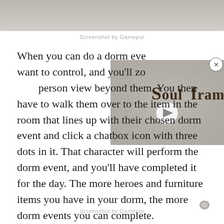[Figure (screenshot): Top image strip showing a blurred game scene background]
Screenshot by Gamepur
[Figure (screenshot): Soulframe game video thumbnail overlay with play button and close (X) button]
When you can do a dorm event, you'll want to control, and you'll zoom into a first-person view beyond them. You then have to walk them over to the item in the room that lines up with their chosen dorm event and click a chatbox icon with three dots in it. That character will perform the dorm event, and you'll have completed it for the day. The more heroes and furniture items you have in your dorm, the more dorm events you can complete.
Screenshot by Gamepur